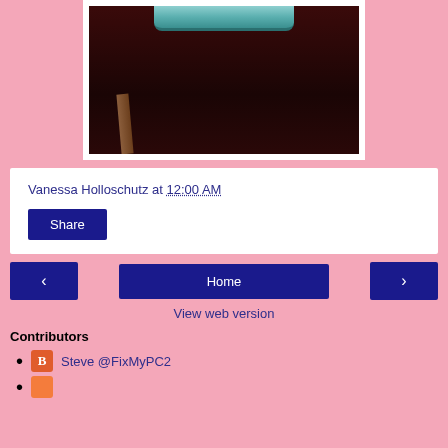[Figure (photo): Partial photo of what appears to be a decorative item or cake topper on a dark wooden surface, with a teal/green decorated top piece and a wooden stick, shown in a white-bordered frame on a pink background.]
Vanessa Holloschutz at 12:00 AM
Share
< Home >
View web version
Contributors
Steve @FixMyPC2